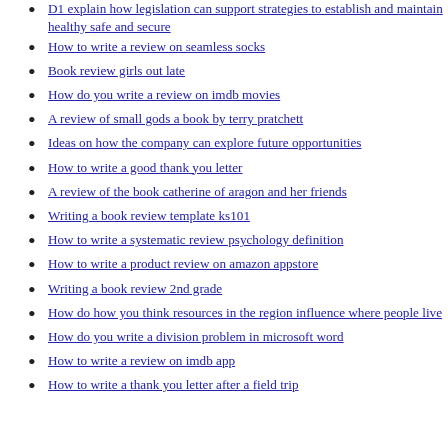D1 explain how legislation can support strategies to establish and maintain healthy safe and secure
How to write a review on seamless socks
Book review girls out late
How do you write a review on imdb movies
A review of small gods a book by terry pratchett
Ideas on how the company can explore future opportunities
How to write a good thank you letter
A review of the book catherine of aragon and her friends
Writing a book review template ks101
How to write a systematic review psychology definition
How to write a product review on amazon appstore
Writing a book review 2nd grade
How do how you think resources in the region influence where people live
How do you write a division problem in microsoft word
How to write a review on imdb app
How to write a thank you letter after a field trip